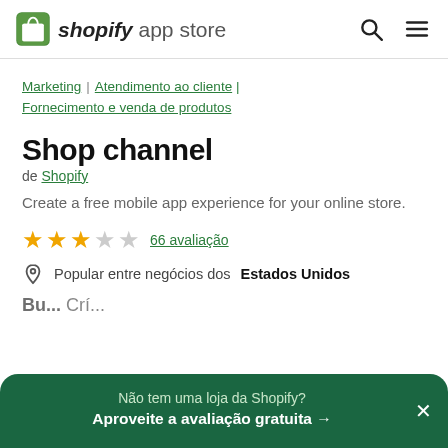shopify app store
Marketing | Atendimento ao cliente | Fornecimento e venda de produtos
Shop channel
de Shopify
Create a free mobile app experience for your online store.
★★★☆☆ 66 avaliação
Popular entre negócios dos Estados Unidos
Não tem uma loja da Shopify? Aproveite a avaliação gratuita →